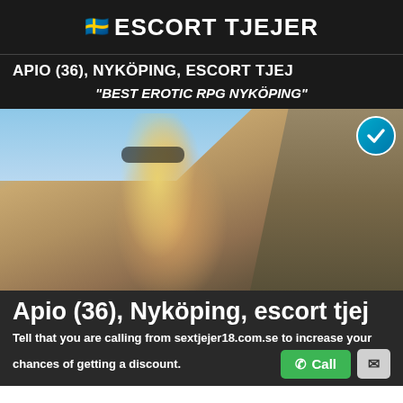🇸🇪 ESCORT TJEJER
APIO (36), NYKÖPING, ESCORT TJEJ
"BEST EROTIC RPG NYKÖPING"
[Figure (photo): Blonde woman wearing sunglasses outdoors near rocks]
Apio (36), Nyköping, escort tjej
Tell that you are calling from sextjejer18.com.se to increase your chances of getting a discount.